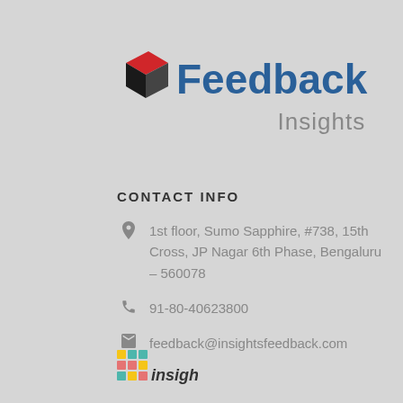[Figure (logo): Feedback Insights logo with 3D box icon in red and black, 'Feedback' in blue bold text, 'Insights' in gray below]
CONTACT INFO
1st floor, Sumo Sapphire, #738, 15th Cross, JP Nagar 6th Phase, Bengaluru – 560078
91-80-40623800
feedback@insightsfeedback.com
[Figure (logo): Insights logo (colorful dots pattern) at the bottom]